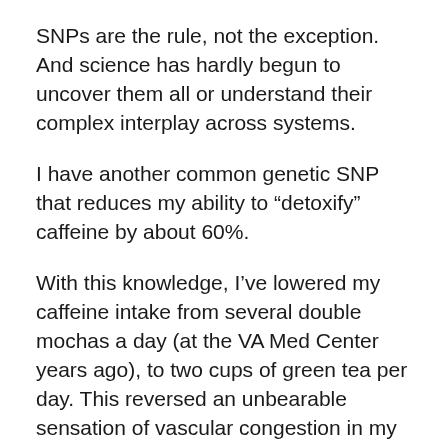SNPs are the rule, not the exception. And science has hardly begun to uncover them all or understand their complex interplay across systems.
I have another common genetic SNP that reduces my ability to “detoxify” caffeine by about 60%.
With this knowledge, I’ve lowered my caffeine intake from several double mochas a day (at the VA Med Center years ago), to two cups of green tea per day. This reversed an unbearable sensation of vascular congestion in my legs. (n=1)
I also have a SNP that makes me inefficient at converting beta-carotene to vitamin A, a few SNPs that increase my need of several B vitamins for adequate methylation to keep my homocysteine levels down, and numerous others